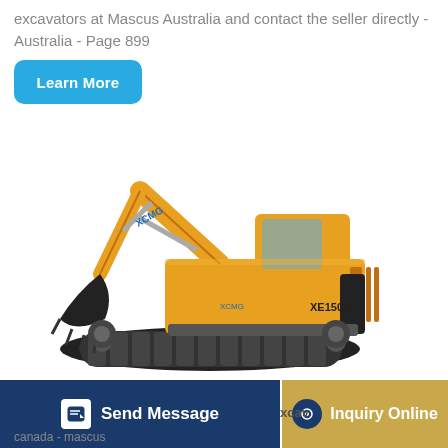excavators at Mascus Australia and contact the seller directly - Australia - Page 899
[Figure (other): Blue rounded rectangle button labeled 'Learn More']
[Figure (photo): XCMG XE150D yellow crawler excavator on white background]
[Figure (other): Bottom navigation bar with 'Send Message' (dark blue) and 'Inquiry Online' (tan/gold) buttons]